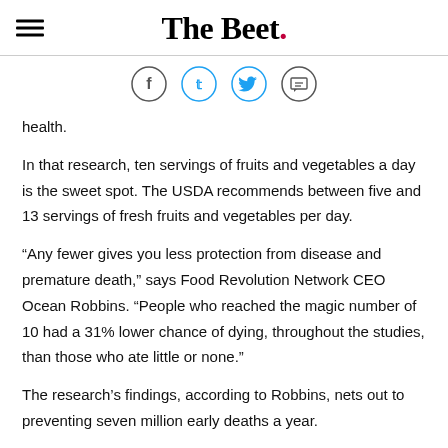The Beet.
[Figure (other): Social share icons: Facebook, Twitter, Print]
health.
In that research, ten servings of fruits and vegetables a day is the sweet spot. The USDA recommends between five and 13 servings of fresh fruits and vegetables per day.
“Any fewer gives you less protection from disease and premature death,” says Food Revolution Network CEO Ocean Robbins. “People who reached the magic number of 10 had a 31% lower chance of dying, throughout the studies, than those who ate little or none.”
The research’s findings, according to Robbins, nets out to preventing seven million early deaths a year.